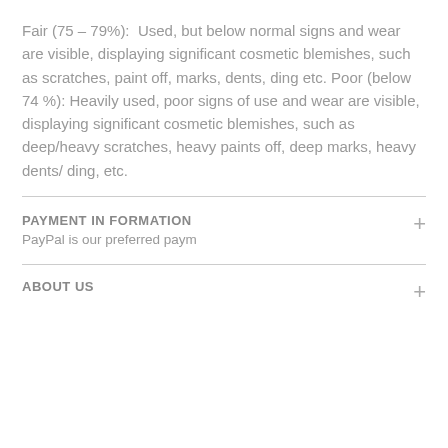Fair (75 – 79%):  Used, but below normal signs and wear are visible, displaying significant cosmetic blemishes, such as scratches, paint off, marks, dents, ding etc. Poor (below 74 %): Heavily used, poor signs of use and wear are visible, displaying significant cosmetic blemishes, such as deep/heavy scratches, heavy paints off, deep marks, heavy dents/ ding, etc.
PAYMENT IN FORMATION
PayPal is our preferred paym
ABOUT US